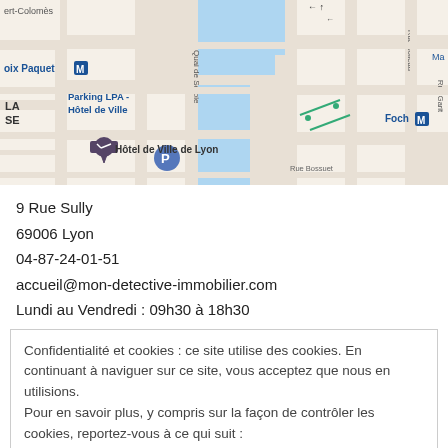[Figure (map): Google Maps screenshot showing Lyon city center with markers for Hôtel de Ville de Lyon, Parking LPA - Hôtel de Ville, Foch metro station, and Croix Paquet metro station. Streets include Quai de Serbie, Rue Boileau, Rue Garit, Rue Bossuet. Blue water feature visible.]
9 Rue Sully
69006 Lyon
04-87-24-01-51
accueil@mon-detective-immobilier.com
Lundi au Vendredi : 09h30 à 18h30
Confidentialité et cookies : ce site utilise des cookies. En continuant à naviguer sur ce site, vous acceptez que nous en utilisions.
Pour en savoir plus, y compris sur la façon de contrôler les cookies, reportez-vous à ce qui suit :
Politique relative aux cookies
Fermer et accepter